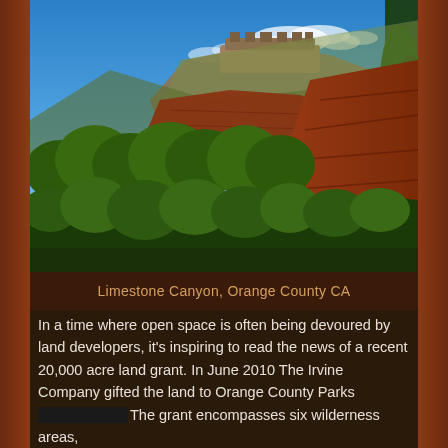[Figure (photo): Landscape photo of Limestone Canyon, Orange County CA. Shows rugged red rock cliffs with green shrubs and trees in the foreground, a rocky mesa/butte formation in the background center, and a bright blue sky with wispy white clouds.]
Limestone Canyon, Orange County CA
In a time where open space is often being devoured by land developers, it's inspiring to read the news of a recent 20,000 acre land grant. In June 2010 The Irvine Company gifted the land to Orange County Parks System.
[redacted] The grant encompasses six wilderness areas, averaging about 3,300 acres each.